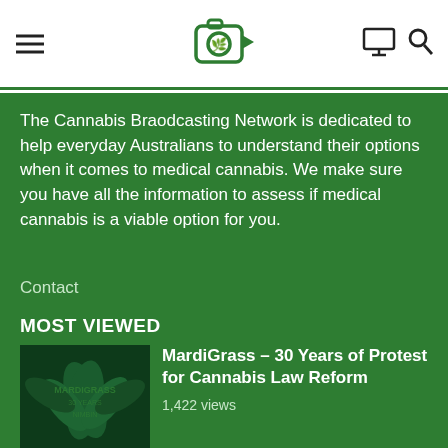Cannabis Broadcasting Network header with hamburger menu, logo, monitor icon, and search icon
The Cannabis Braodcasting Network is dedicated to help everyday Australians to understand their options when it comes to medical cannabis. We make sure you have all the information to assess if medical cannabis is a viable option for you.
Contact
MOST VIEWED
[Figure (photo): Cannabis leaves close-up with MardiGrass text overlay]
MardiGrass – 30 Years of Protest for Cannabis Law Reform
1,422 views
[Figure (photo): Person in blue shirt, related to Nimbin Medical Cannabis]
Nimbin Medican Cannabis